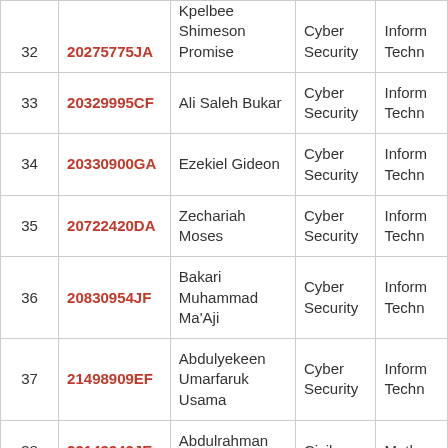| # | Reg. No. | Name | Programme | Department |
| --- | --- | --- | --- | --- |
| 32 | 20275775JA | Kpelbee Shimeson Promise | Cyber Security | Inform Techn |
| 33 | 20329995CF | Ali Saleh Bukar | Cyber Security | Inform Techn |
| 34 | 20330900GA | Ezekiel Gideon | Cyber Security | Inform Techn |
| 35 | 20722420DA | Zechariah Moses | Cyber Security | Inform Techn |
| 36 | 20830954JF | Bakari Muhammad Ma'Aji | Cyber Security | Inform Techn |
| 37 | 21498909EF | Abdulyekeen Umarfaruk Usama | Cyber Security | Inform Techn |
| 38 | 22143343JE | Abdulrahman Hassan | Civil | Mathe |